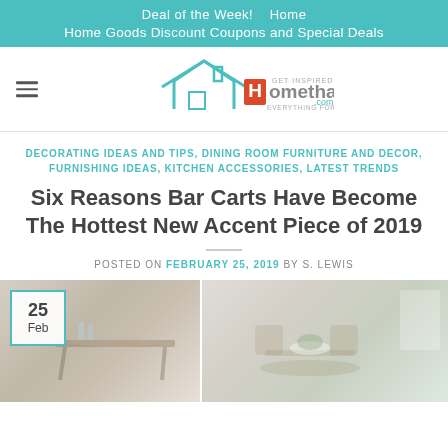Deal of the Week!    Home
Home Goods Discount Coupons and Special Deals
[Figure (logo): Homethangs.com logo with house outline, GET INSPIRED and EVERYTHING FOR HOME taglines]
DECORATING IDEAS AND TIPS, DINING ROOM FURNITURE AND DECOR, FURNISHING IDEAS, KITCHEN ACCESSORIES, LATEST TRENDS
Six Reasons Bar Carts Have Become The Hottest New Accent Piece of 2019
POSTED ON FEBRUARY 25, 2019 BY S. LEWIS
[Figure (photo): Interior dining room photo split into two panels showing bar cart and dining table setting]